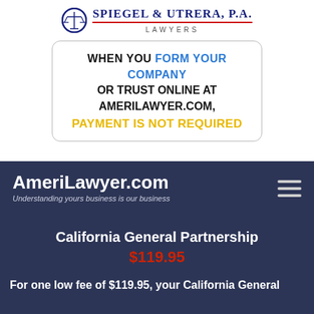[Figure (logo): Spiegel & Utrera, P.A. Lawyers logo with scales of justice icon]
WHEN YOU FORM YOUR COMPANY OR TRUST ONLINE AT AMERILAWYER.COM, PAYMENT IS NOT REQUIRED
AmeriLawyer.com
Understanding yours business is our business
California General Partnership
$119.95
For one low fee of $119.95, your California General